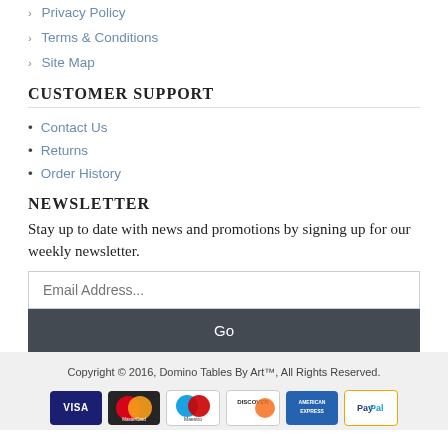> Privacy Policy
> Terms & Conditions
> Site Map
CUSTOMER SUPPORT
• Contact Us
• Returns
• Order History
NEWSLETTER
Stay up to date with news and promotions by signing up for our weekly newsletter.
Email Address...
Go
Copyright © 2016, Domino Tables By Art™, All Rights Reserved.
[Figure (other): Payment method icons: Visa, MasterCard, Maestro, Discover, American Express, PayPal]